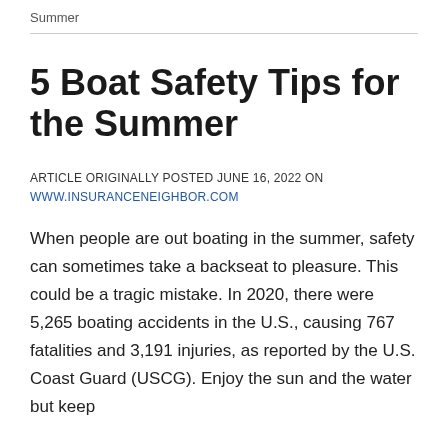Summer
5 Boat Safety Tips for the Summer
ARTICLE ORIGINALLY POSTED JUNE 16, 2022 ON WWW.INSURANCENEIGHBOR.COM
When people are out boating in the summer, safety can sometimes take a backseat to pleasure. This could be a tragic mistake. In 2020, there were 5,265 boating accidents in the U.S., causing 767 fatalities and 3,191 injuries, as reported by the U.S. Coast Guard (USCG). Enjoy the sun and the water but keep